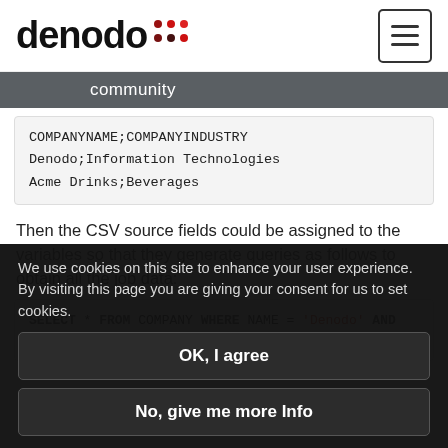denodo [logo] | hamburger menu button
community
[Figure (screenshot): Code block showing CSV data: COMPANYNAME;COMPANYINDUSTRY / Denodo;Information Technologies / Acme Drinks;Beverages]
Then the CSV source fields could be assigned to the variables so that they generate queries as follows to obtain all the job data:
[Figure (screenshot): SQL code block: SELECT * FROM COMPANY WHERE NAME = 'Denodo' AND / SELECT * FROM COMPANY WHERE NAME = 'Acme Drinks]
We use cookies on this site to enhance your user experience. By visiting this page you are giving your consent for us to set cookies.
OK, I agree
No, give me more Info